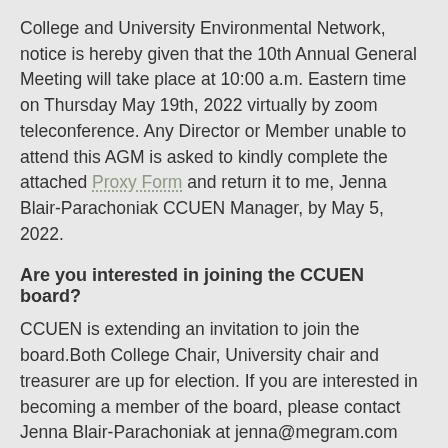College and University Environmental Network, notice is hereby given that the 10th Annual General Meeting will take place at 10:00 a.m. Eastern time on Thursday May 19th, 2022 virtually by zoom teleconference. Any Director or Member unable to attend this AGM is asked to kindly complete the attached Proxy Form and return it to me, Jenna Blair-Parachoniak CCUEN Manager, by May 5, 2022.
Are you interested in joining the CCUEN board?
CCUEN is extending an invitation to join the board.Both College Chair, University chair and treasurer are up for election. If you are interested in becoming a member of the board, please contact Jenna Blair-Parachoniak at jenna@megram.com
GAC-MAC-IAH-CNC-CSPG Joint Meeting May 15-18
Wednesday, May 18
GAC-MAC-IAH-CNC-CSPG Joint Meeting – CCUEN Session (8:00 – 9:40 am)
CCUEN Walking Tour – Halifax Urban Forest with Natalie Secen,